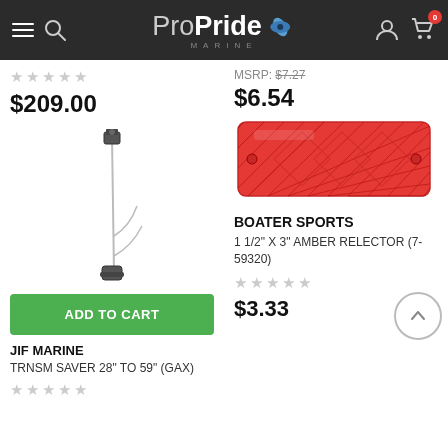Pro Pride Marine
$209.00
[Figure (photo): Metal rod/pole sailing equipment - Transmission Saver product photo]
ADD TO CART
JIF MARINE
TRNSM SAVER 28" TO 59" (GAX)
MSRP: $7.27
$6.54
[Figure (photo): Red rectangular reflector product photo - 1.5 inch by 3 inch reflector]
BOATER SPORTS
1 1/2" X 3" AMBER RELECTOR (7-59320)
$3.33